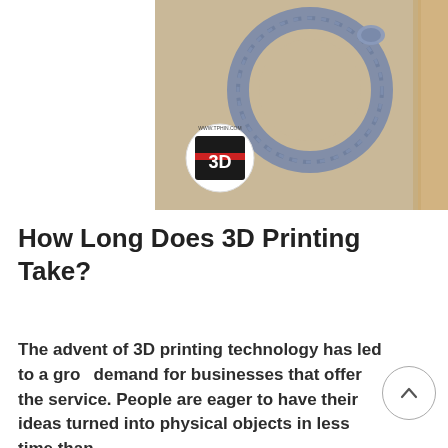[Figure (photo): A 3D-printed braided ring/bangle in blue-grey color resting on a beige surface, with a round sticker displaying '3D' logo and 'www.tphin.com', and a cardboard piece visible at the right edge.]
How Long Does 3D Printing Take?
The advent of 3D printing technology has led to a growing demand for businesses that offer the service. People are eager to have their ideas turned into physical objects in less time than